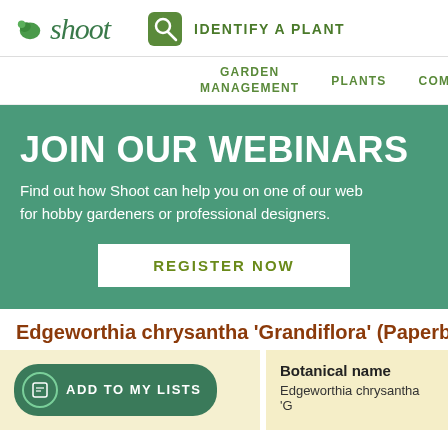shoot | IDENTIFY A PLANT
GARDEN MANAGEMENT | PLANTS | COMMU...
[Figure (screenshot): Green banner with JOIN OUR WEBINARS text and REGISTER NOW button]
Edgeworthia chrysantha 'Grandiflora' (Paperb...
ADD TO MY LISTS
Botanical name
Edgeworth chrysantha 'G...